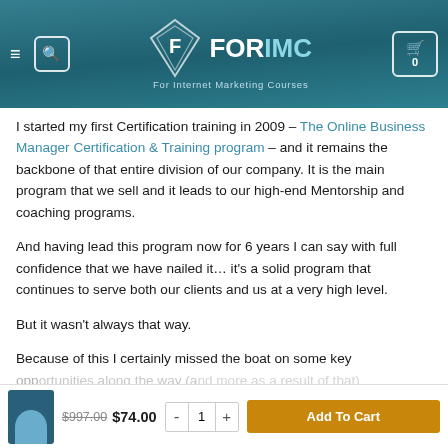FORIMC – For Internet Marketing Courses
I started my first Certification training in 2009 – The Online Business Manager Certification & Training program – and it remains the backbone of that entire division of our company. It is the main program that we sell and it leads to our high-end Mentorship and coaching programs.
And having lead this program now for 6 years I can say with full confidence that we have nailed it… it's a solid program that continues to serve both our clients and us at a very high level.
But it wasn't always that way.
Because of this I certainly missed the boat on some key opportunities along the way (and more as a result of that)
$997.00  $74.00  -  1  +  Add To Cart